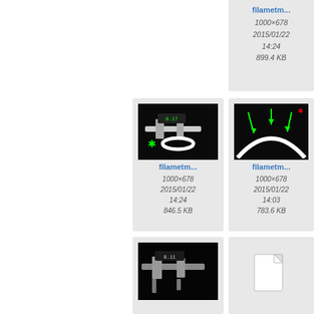[Figure (screenshot): File thumbnail grid showing filament measurement images and metadata. Row 1: fff_princi... (994×766, 2014/11/11 14:57, 101.4 KB), filametm... (1000×678, 2015/01/22 14:24, 899.4 KB), partially visible third item. Row 2: filametm... photo of calipers measuring filament (1000×678, 2015/01/22 14:24, 846.5 KB), filametm... photo of curved filament with green arrows (1000×678, 2015/01/22 14:03, 783.6 KB), partially visible third item. Row 3: photo of calipers on dark background, generic file icon, partially visible third item.]